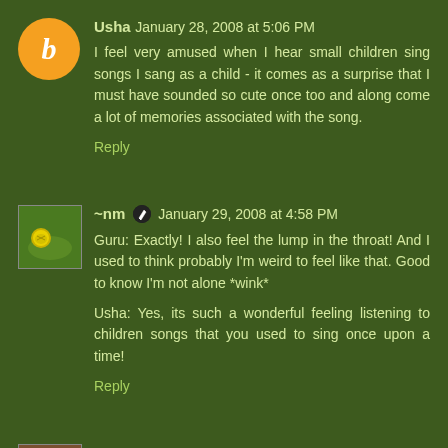Usha  January 28, 2008 at 5:06 PM
I feel very amused when I hear small children sing songs I sang as a child - it comes as a surprise that I must have sounded so cute once too and along come a lot of memories associated with the song.
Reply
~nm  January 29, 2008 at 4:58 PM
Guru: Exactly! I also feel the lump in the throat! And I used to think probably I'm weird to feel like that. Good to know I'm not alone *wink*

Usha: Yes, its such a wonderful feeling listening to children songs that you used to sing once upon a time!
Reply
Prats  January 31, 2008 at 9:08 AM